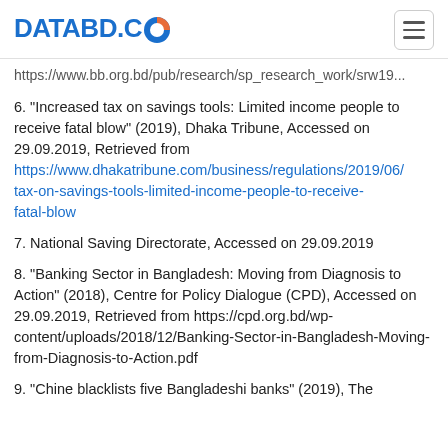DATABD.CO
https://www.bb.org.bd/pub/research/sp_research_work/srw19...
6. "Increased tax on savings tools: Limited income people to receive fatal blow" (2019), Dhaka Tribune, Accessed on 29.09.2019, Retrieved from https://www.dhakatribune.com/business/regulations/2019/06/tax-on-savings-tools-limited-income-people-to-receive-fatal-blow
7. National Saving Directorate, Accessed on 29.09.2019
8. "Banking Sector in Bangladesh: Moving from Diagnosis to Action" (2018), Centre for Policy Dialogue (CPD), Accessed on 29.09.2019, Retrieved from https://cpd.org.bd/wp-content/uploads/2018/12/Banking-Sector-in-Bangladesh-Moving-from-Diagnosis-to-Action.pdf
9. "Chine blacklists five Bangladeshi banks" (2019), The